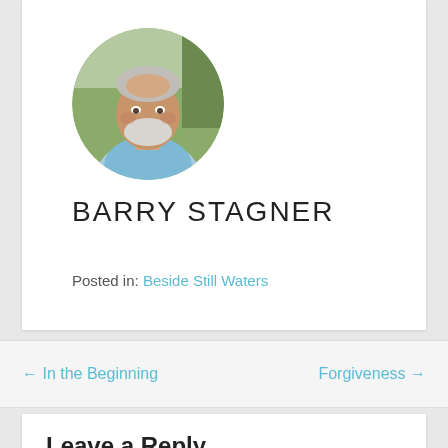[Figure (photo): Circular profile photo of Barry Stagner, a middle-aged man with a white beard wearing a light blue shirt, smiling, with greenery in the background.]
BARRY STAGNER
Posted in: Beside Still Waters
← In the Beginning
Forgiveness →
Leave a Reply